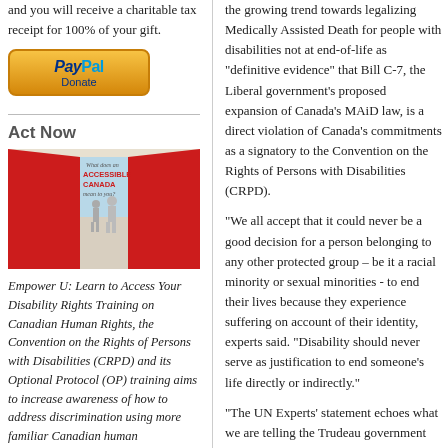and you will receive a charitable tax receipt for 100% of your gift.
[Figure (illustration): PayPal Donate button, gold/orange rounded rectangle with PayPal logo in blue and the word Donate]
Act Now
[Figure (illustration): Image showing silhouettes of people walking through red doors with text 'What does an ACCESSIBLE CANADA mean to you?']
Empower U: Learn to Access Your Disability Rights Training on Canadian Human Rights, the Convention on the Rights of Persons with Disabilities (CRPD) and its Optional Protocol (OP) training aims to increase awareness of how to address discrimination using more familiar Canadian human
the growing trend towards legalizing Medically Assisted Death for people with disabilities not at end-of-life as “definitive evidence” that Bill C-7, the Liberal government’s proposed expansion of Canada’s MAiD law, is  a direct violation of Canada’s commitments as a signatory to the Convention on the Rights of Persons with Disabilities (CRPD).
“We all accept that it could never be a good decision for a person belonging to any other protected group – be it a racial minority or sexual minorities - to end their lives because they experience suffering on account of their identity, experts said. “Disability should never serve as justification to end someone’s life directly or indirectly.”
“The UN Experts’ statement echoes what we are telling the Trudeau government through, said the Chair of CCD’s Ending-of-Life Ethics